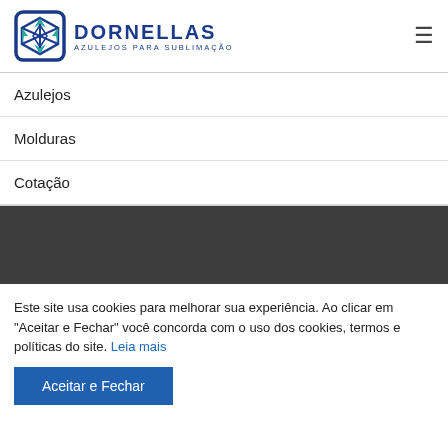[Figure (logo): Dornellas Azulejos Para Sublimação logo with blue geometric cube icon and blue text]
Azulejos
Molduras
Cotação
[Figure (other): Dark gray band/hero image section]
Este site usa cookies para melhorar sua experiência. Ao clicar em "Aceitar e Fechar" você concorda com o uso dos cookies, termos e políticas do site. Leia mais
Aceitar e Fechar